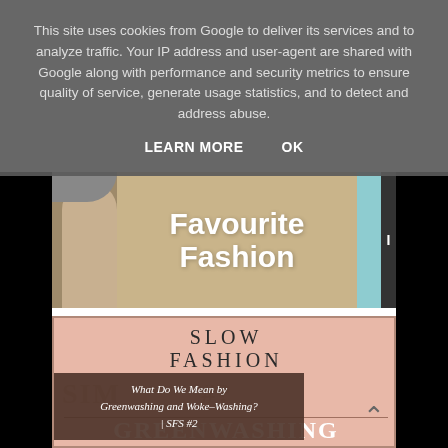This site uses cookies from Google to deliver its services and to analyze traffic. Your IP address and user-agent are shared with Google along with performance and security metrics to ensure quality of service, generate usage statistics, and to detect and address abuse.
LEARN MORE    OK
[Figure (screenshot): Partial view of a blog header showing 'Favourite Fashion' text in white bold on tan/beige background with a light blue panel on the right and a partial face photo on the left.]
[Figure (infographic): A salmon/peach colored card with serif text reading 'SLOW FASHION SIMPLICITY #2' overlaid by a dark brown box containing italic text 'What Do We Mean by Greenwashing and Woke-Washing? | SFS #2'. At the bottom partial text reads 'GREENWASHING' in large white bold letters.]